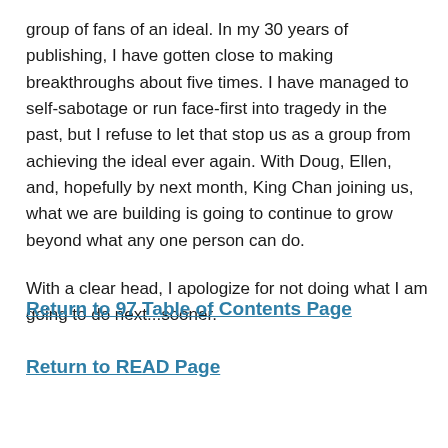group of fans of an ideal. In my 30 years of publishing, I have gotten close to making breakthroughs about five times. I have managed to self-sabotage or run face-first into tragedy in the past, but I refuse to let that stop us as a group from achieving the ideal ever again. With Doug, Ellen, and, hopefully by next month, King Chan joining us, what we are building is going to continue to grow beyond what any one person can do.
With a clear head, I apologize for not doing what I am going to do next...sooner.
Return to 97 Table of Contents Page
Return to READ Page